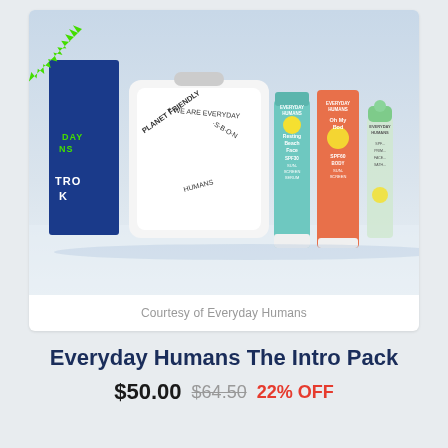[Figure (photo): Product photo of Everyday Humans The Intro Pack sunscreen set, showing a blue box with green starburst logo, white pouch with circular text 'Planet Friendly We Are Everyday Humans No BS', teal tube (Resting Beach Face SPF30 Sunscreen Serum), orange tube (Oh My Bod SPF60 Body Sunscreen), and a small roller bottle, all arranged in a row on a light background.]
Courtesy of Everyday Humans
Everyday Humans The Intro Pack
$50.00  $64.50  22% OFF